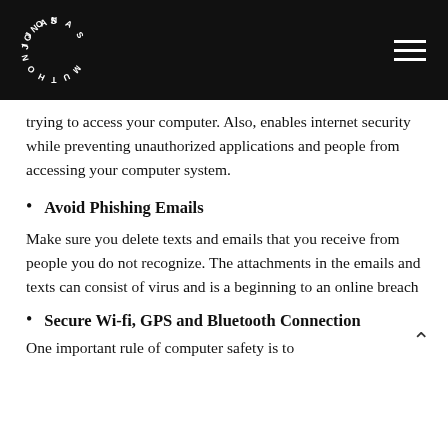JONAS MUTHONI
trying to access your computer. Also, enables internet security while preventing unauthorized applications and people from accessing your computer system.
Avoid Phishing Emails
Make sure you delete texts and emails that you receive from people you do not recognize. The attachments in the emails and texts can consist of virus and is a beginning to an online breach
Secure Wi-fi, GPS and Bluetooth Connection
One important rule of computer safety is to